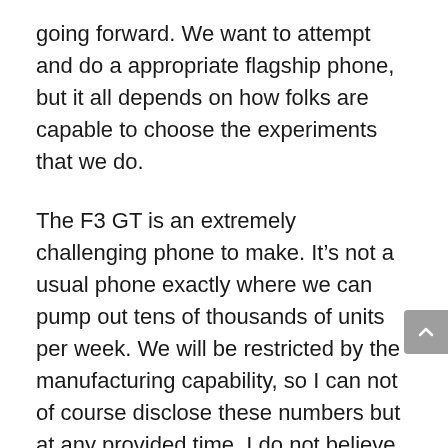going forward. We want to attempt and do a appropriate flagship phone, but it all depends on how folks are capable to choose the experiments that we do.
The F3 GT is an extremely challenging phone to make. It’s not a usual phone exactly where we can pump out tens of thousands of units per week. We will be restricted by the manufacturing capability, so I can not of course disclose these numbers but at any provided time, I do not believe we’ll be possessing a couple of lakhs of phones to sell. It is going to be fairly tight, at least in my head. We’re producing it in India, which is what tends to make it even tougher, due to the fact just the chassis itself is quite exclusive and challenging to machine. This is